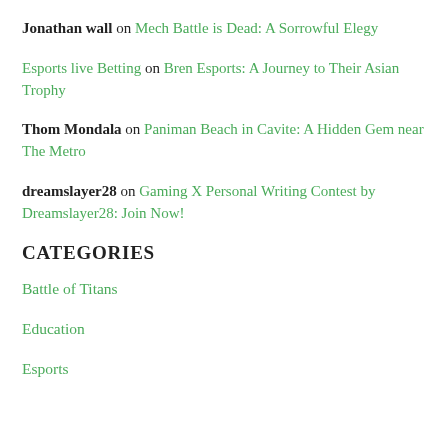Jonathan wall on Mech Battle is Dead: A Sorrowful Elegy
Esports live Betting on Bren Esports: A Journey to Their Asian Trophy
Thom Mondala on Paniman Beach in Cavite: A Hidden Gem near The Metro
dreamslayer28 on Gaming X Personal Writing Contest by Dreamslayer28: Join Now!
CATEGORIES
Battle of Titans
Education
Esports